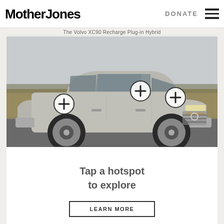Mother Jones | DONATE
The Volvo XC90 Recharge Plug-in Hybrid
[Figure (photo): Photo of a silver Volvo XC90 Recharge Plug-in Hybrid SUV driving on a road with golden fields in the background. Three circular hotspot markers with plus signs are overlaid on the image.]
Tap a hotspot to explore
LEARN MORE